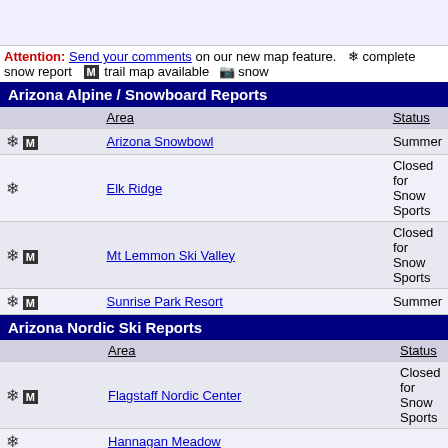Attention: Send your comments on our new map feature. ❄ complete snow report  M trail map available  📷 snow
Arizona Alpine / Snowboard Reports
|  | Area | Status |
| --- | --- | --- |
| ❄ M | Arizona Snowbowl | Summer |
| ❄ | Elk Ridge | Closed for Snow Sports |
| ❄ M | Mt Lemmon Ski Valley | Closed for Snow Sports |
| ❄ M | Sunrise Park Resort | Summer |
Arizona Nordic Ski Reports
|  | Area | Status |
| --- | --- | --- |
| ❄ M | Flagstaff Nordic Center | Closed for Snow Sports |
| ❄ | Hannagan Meadow |  |
| ❄ | Ski Lift Lodge and Stables |  |
| ❄ | Sunrise Park |  |
Official snow conditions provided by SnoCountry Mountain Reports™. ©2022 SnoCountry Mountain Reports™. A
Get ski conditions daily by email
WIN
©1996-2015 ActionSports Interactive
For product and advertising information, please see our media kit.
Need ski conditions for your ski